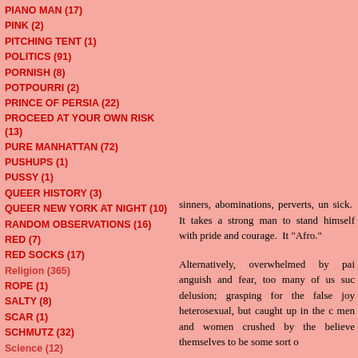PIANO MAN (17)
PINK (2)
PITCHING TENT (1)
POLITICS (91)
PORNISH (8)
POTPOURRI (2)
PRINCE OF PERSIA (22)
PROCEED AT YOUR OWN RISK (13)
PURE MANHATTAN (72)
PUSHUPS (1)
PUSSY (1)
QUEER HISTORY (3)
QUEER NEW YORK AT NIGHT (10)
RANDOM OBSERVATIONS (16)
RED (7)
RED SOCKS (17)
Religion (365)
ROPE (1)
SALTY (8)
SCAR (1)
SCHMUTZ (32)
Science (12)
sinners, abominations, perverts, un sick. It takes a strong man to stand himself with pride and courage. It "Afro."
Alternatively, overwhelmed by pai anguish and fear, too many of us suc delusion; grasping for the false joy heterosexual, but caught up in the c men and women crushed by the believe themselves to be some sort o